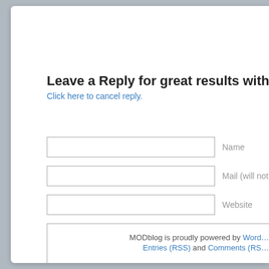Leave a Reply for great results with XTG
Click here to cancel reply.
Name
Mail (will not be published)
Website
MODblog is proudly powered by WordPress. Entries (RSS) and Comments (RSS)